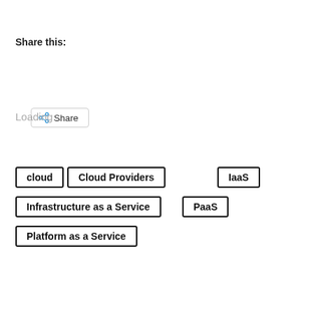Share this:
[Figure (other): Share button with share icon]
Loading...
cloud
Cloud Providers
IaaS
Infrastructure as a Service
PaaS
Platform as a Service